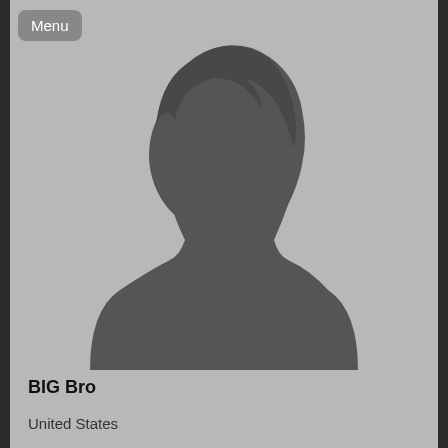[Figure (photo): Generic placeholder silhouette of a person (head and shoulders) in dark gray on a lighter gray background]
Menu
BIG Bro
United States